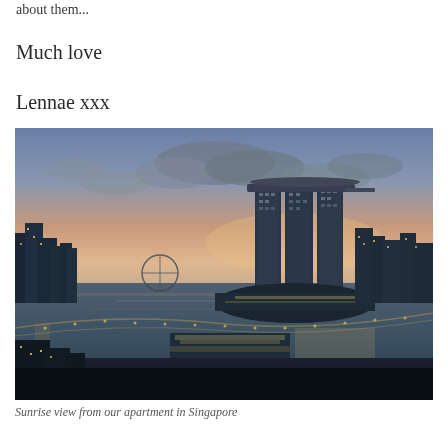about them...
Much love
Lennae xxx
[Figure (photo): Aerial twilight/sunrise view of Singapore skyline featuring Marina Bay Sands hotel and surrounding waterfront cityscape with glowing city lights and clouds in the sky]
Sunrise view from our apartment in Singapore